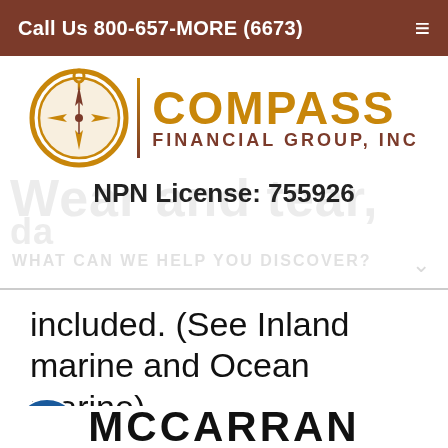Call Us 800-657-MORE (6673)
[Figure (logo): Compass Financial Group, Inc logo with compass rose circle icon and orange/brown text]
NPN License: 755926
included. (See Inland marine and Ocean marine)
MCCARRAN